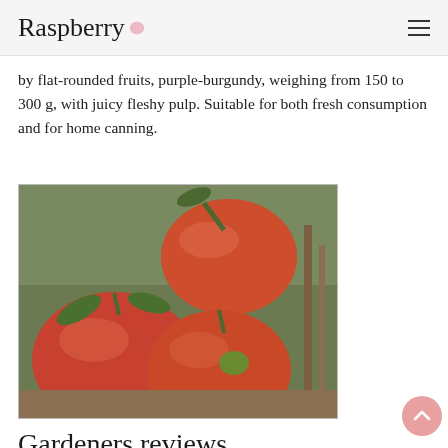Raspberry
by flat-rounded fruits, purple-burgundy, weighing from 150 to 300 g, with juicy fleshy pulp. Suitable for both fresh consumption and for home canning.
[Figure (photo): Close-up photo of large tomatoes growing on a vine, showing ripe red tomatoes including one large oval tomato above and two large round ones below, with green stems and leaves visible against a garden background.]
Gardeners reviews